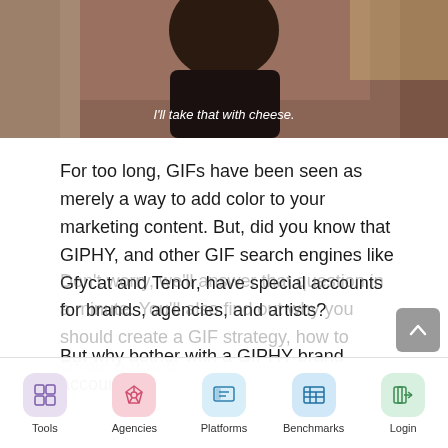[Figure (photo): A photo of a person wearing a black top, with a caption reading "I'll take that with cheese."]
I'll take that with cheese.
For too long, GIFs have been seen as merely a way to add color to your marketing content. But, did you know that GIPHY, and other GIF search engines like Gfycat and Tenor, have special accounts for brands, agencies, and artists?
But why bother with a GIPHY brand account?
Don't worry, we'll answer that question in a minute. You'll also find out why you should create a GIF strategy, how to create a brand
Tools   Agencies   Platforms   Benchmarks   Login